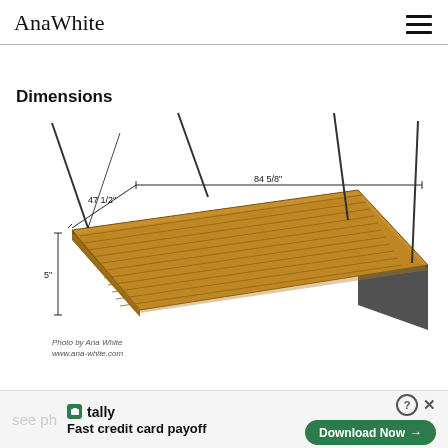AnaWhite
[Figure (engineering-diagram): 3D perspective drawing of a hanging porch swing bed with slatted wooden surface suspended by four ropes/chains from above. Dimensions labeled: 84 5/8" length, 47 1/2" width, 5" thickness. Label 'Dimensions' appears at top left. Photo credit: Photo by Ana White, www.ana-white.com]
see ph
tally Fast credit card payoff
Download Now →